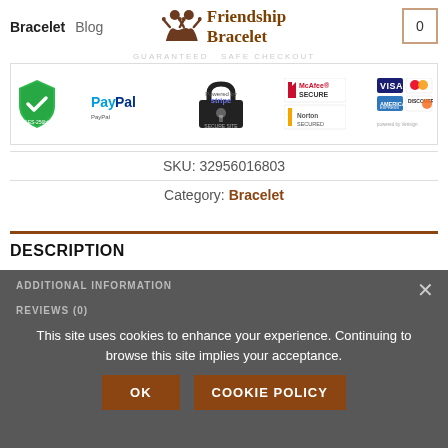Bracelet  Blog  Friendship Bracelet  [cart: 0]
[Figure (screenshot): Guaranteed safe checkout banner with payment icons: AES-256bit shield, PayPal, Stripe, McAfee Secure, Norton Secured, Visa, MasterCard, American Express, Discover]
SKU: 32956016803
Category: Bracelet
DESCRIPTION
ADDITIONAL INFORMATION
REVIEWS (0)
This site uses cookies to enhance your experience. Continuing to browse this site implies your acceptance.
OK  COOKIE POLICY